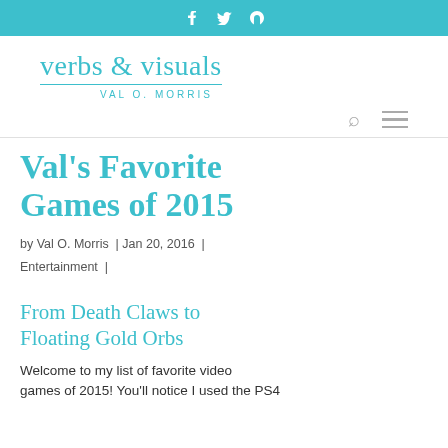f  twitter  rss
[Figure (logo): verbs & visuals — Val O. Morris site logo with teal text and underline]
[Figure (other): Navigation bar with search icon and hamburger menu icon]
Val's Favorite Games of 2015
by Val O. Morris  |  Jan 20, 2016  |  Entertainment  |
From Death Claws to Floating Gold Orbs
Welcome to my list of favorite video games of 2015! You'll notice I used the PS4